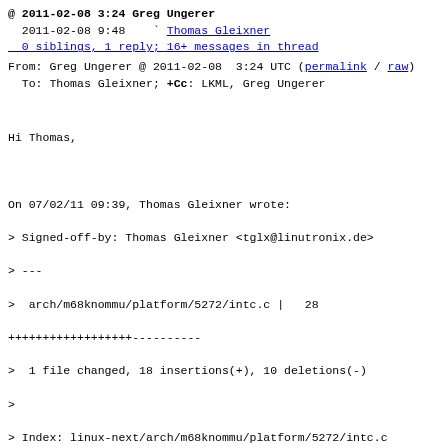@ 2011-02-08  3:24     Greg Ungerer
  2011-02-08  9:48    Thomas Gleixner
  0 siblings, 1 reply; 16+ messages in thread
From: Greg Ungerer @ 2011-02-08  3:24 UTC (permalink / raw)
  To: Thomas Gleixner; +Cc: LKML, Greg Ungerer
Hi Thomas,

On 07/02/11 09:39, Thomas Gleixner wrote:
> Signed-off-by: Thomas Gleixner <tglx@linutronix.de>
> ---
>  arch/m68knommu/platform/5272/intc.c |   28
++++++++++++++++++----------
>  1 file changed, 18 insertions(+), 10 deletions(-)
>
> Index: linux-next/arch/m68knommu/platform/5272/intc.c
>
====================================================================
> --- linux-next.orig/arch/m68knommu/platform/5272/intc.c
> +++ linux-next/arch/m68knommu/platform/5272/intc.c
> @@ -78,8 +78,10 @@ static struct irqmap intc_irqmap[MCFINT_
>    * an interrupt on this irq (for the external irqs). So this mask function
>    * is also an ack_mask function.
>    * /
> -static void intc_irq_mask(unsigned int irq)